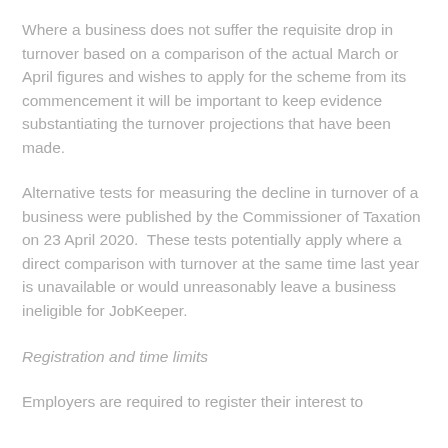Where a business does not suffer the requisite drop in turnover based on a comparison of the actual March or April figures and wishes to apply for the scheme from its commencement it will be important to keep evidence substantiating the turnover projections that have been made.
Alternative tests for measuring the decline in turnover of a business were published by the Commissioner of Taxation on 23 April 2020.  These tests potentially apply where a direct comparison with turnover at the same time last year is unavailable or would unreasonably leave a business ineligible for JobKeeper.
Registration and time limits
Employers are required to register their interest to